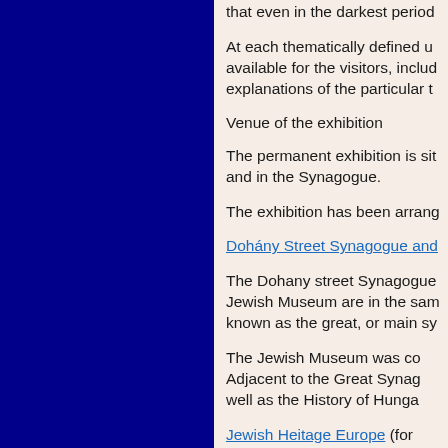that even in the darkest period
At each thematically defined u available for the visitors, includ explanations of the particular t
Venue of the exhibition
The permanent exhibition is sit and in the Synagogue.
The exhibition has been arrang
Dohány Street Synagogue and
The Dohany street Synagogue Jewish Museum are in the sam known as the great, or main sy
The Jewish Museum was co Adjacent to the Great Synag well as the History of Hunga
Jewish Heitage Europe (for